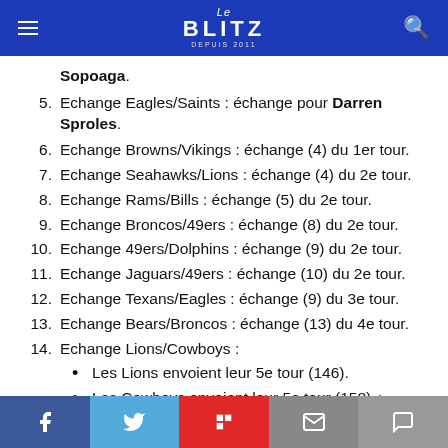Le Blitz — header with hamburger menu, logo, and search icon
Sopoaga.
5. Echange Eagles/Saints : échange pour Darren Sproles.
6. Echange Browns/Vikings : échange (4) du 1er tour.
7. Echange Seahawks/Lions : échange (4) du 2e tour.
8. Echange Rams/Bills : échange (5) du 2e tour.
9. Echange Broncos/49ers : échange (8) du 2e tour.
10. Echange 49ers/Dolphins : échange (9) du 2e tour.
11. Echange Jaguars/49ers : échange (10) du 2e tour.
12. Echange Texans/Eagles : échange (9) du 3e tour.
13. Echange Bears/Broncos : échange (13) du 4e tour.
14. Echange Lions/Cowboys :
• Les Lions envoient leur 5e tour (146).
• Les Cowboys envoient leur 5e tour (158) +
Social share bar: Facebook, Twitter, Flipboard, Email, Comment